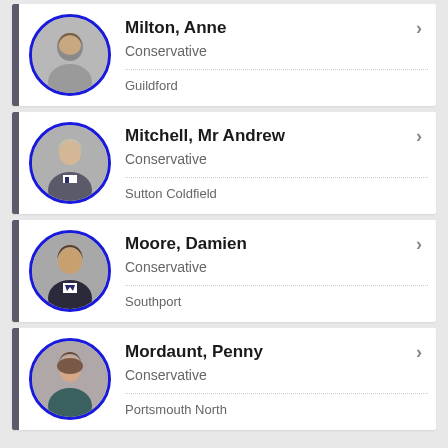Milton, Anne | Conservative | Guildford
Mitchell, Mr Andrew | Conservative | Sutton Coldfield
Moore, Damien | Conservative | Southport
Mordaunt, Penny | Conservative | Portsmouth North